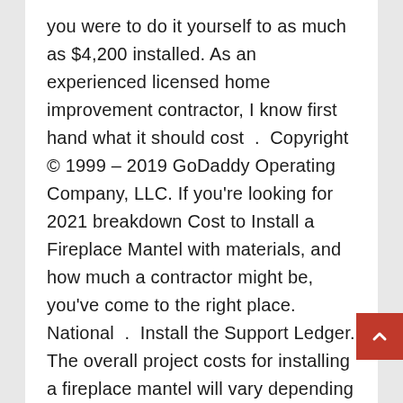you were to do it yourself to as much as $4,200 installed. As an experienced licensed home improvement contractor, I know first hand what it should cost . Copyright © 1999 – 2019 GoDaddy Operating Company, LLC. If you're looking for 2021 breakdown Cost to Install a Fireplace Mantel with materials, and how much a contractor might be, you've come to the right place. National . Install the Support Ledger. The overall project costs for installing a fireplace mantel will vary depending on the type of mantel and materials you choose. A third-party browser plugin, such as Ghostery or NoScript, is preventing JavaScript from running. Actual costs will depend on job size, . Using a pry bar or crowbar, gently pry the mantel from the bricks . All rights reserved. As you were browsing, something about your browser made us